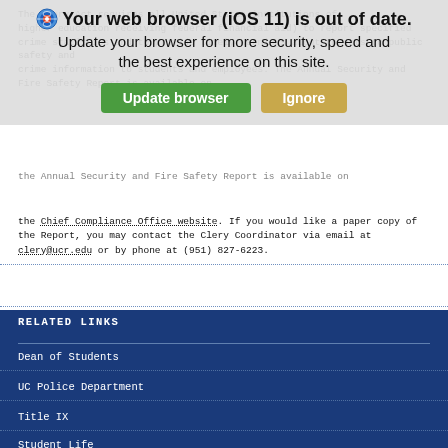[Figure (screenshot): Browser update warning overlay showing 'Your web browser (iOS 11) is out of date. Update your browser for more security, speed and the best experience on this site.' with green 'Update browser' and tan 'Ignore' buttons]
the Chief Compliance Office website. If you would like a paper copy of the Report, you may contact the Clery Coordinator via email at clery@ucr.edu or by phone at (951) 827-6223.
RELATED LINKS
Dean of Students
UC Police Department
Title IX
Student Life